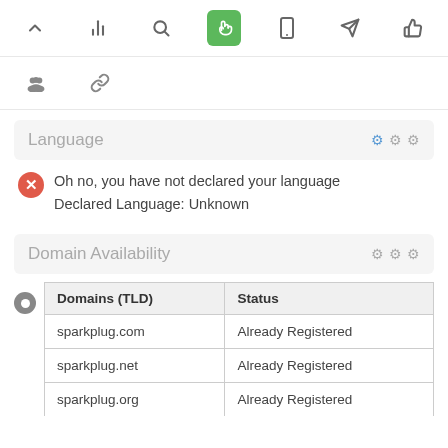[Figure (screenshot): Toolbar row with icons: chevron-up, bar-chart, search, pointer/touch (active green), mobile, send/navigate, thumbs-up]
[Figure (screenshot): Second toolbar row with icons: group/people, chain/link]
Language
Oh no, you have not declared your language
Declared Language: Unknown
Domain Availability
| Domains (TLD) | Status |
| --- | --- |
| sparkplug.com | Already Registered |
| sparkplug.net | Already Registered |
| sparkplug.org | Already Registered |